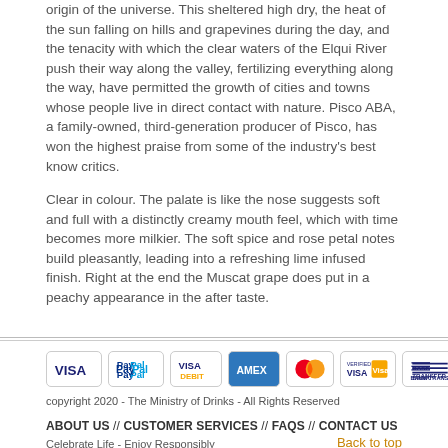origin of the universe. This sheltered high dry, the heat of the sun falling on hills and grapevines during the day, and the tenacity with which the clear waters of the Elqui River push their way along the valley, fertilizing everything along the way, have permitted the growth of cities and towns whose people live in direct contact with nature. Pisco ABA, a family-owned, third-generation producer of Pisco, has won the highest praise from some of the industry's best know critics.
Clear in colour. The palate is like the nose suggests soft and full with a distinctly creamy mouth feel, which with time becomes more milkier. The soft spice and rose petal notes build pleasantly, leading into a refreshing lime infused finish. Right at the end the Muscat grape does put in a peachy appearance in the after taste.
[Figure (other): Row of payment method icons: VISA, PayPal, VISA DEBIT, AMEX, MasterCard, Verified by Visa, BANK TRANSFER, American Express SafeKey]
copyright 2020 - The Ministry of Drinks - All Rights Reserved
ABOUT US // CUSTOMER SERVICES // FAQS // CONTACT US
Celebrate Life - Enjoy Responsibly
Back to top